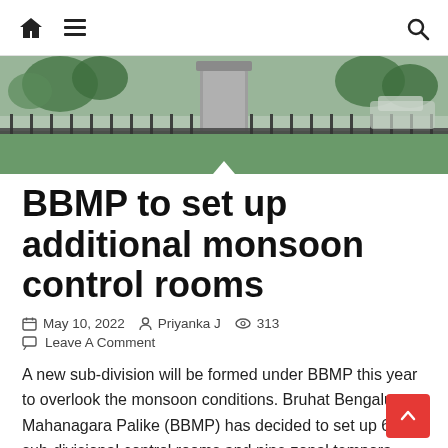Navigation bar with home icon, hamburger menu, and search icon
[Figure (photo): Outdoor photo showing a park or public space with iron railings, a stone monument or pillar, green grass, trees, and parked cars in the background]
BBMP to set up additional monsoon control rooms
May 10, 2022  Priyanka J  313  Leave A Comment
A new sub-division will be formed under BBMP this year to overlook the monsoon conditions. Bruhat Bengaluru Mahanagara Palike (BBMP) has decided to set up 64 sub-divisional control rooms and nine zonal temporary control rooms this year to address the complaints of